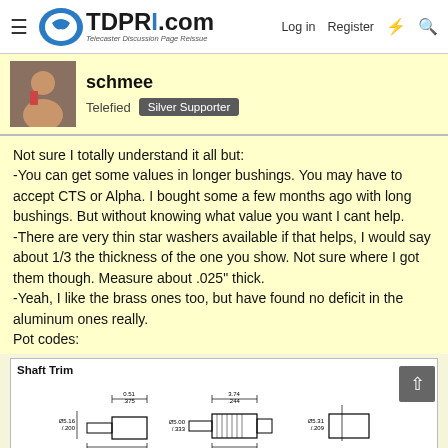TDPRI.com — Telecaster Discussion Page Reissue — Log in | Register
schmee
Telefied  Silver Supporter
Not sure I totally understand it all but:
-You can get some values in longer bushings. You may have to accept CTS or Alpha. I bought some a few months ago with long bushings. But without knowing what value you want I cant help.
-There are very thin star washers available if that helps, I would say about 1/3 the thickness of the one you show. Not sure where I got them though. Measure about .025" thick.
-Yeah, I like the brass ones too, but have found no deficit in the aluminum ones really.
Pot codes:
[Figure (engineering-diagram): Shaft Trim engineering diagram showing three shaft types: F - Flat (with dimensions 0.51/.375 and Ø5.16/.200, and 2.80/.150), K - Slot & Knurled (with dimensions 3.74/.244 and Ø5.00/.333, 24 TEETH, 1.62/.062), R - Round (with dimension Ø5.31/.209). DIMENSION legend shown.]
Ordering Information